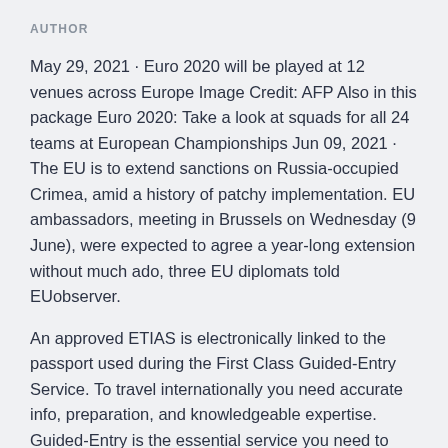AUTHOR
May 29, 2021 · Euro 2020 will be played at 12 venues across Europe Image Credit: AFP Also in this package Euro 2020: Take a look at squads for all 24 teams at European Championships Jun 09, 2021 · The EU is to extend sanctions on Russia-occupied Crimea, amid a history of patchy implementation. EU ambassadors, meeting in Brussels on Wednesday (9 June), were expected to agree a year-long extension without much ado, three EU diplomats told EUobserver.
An approved ETIAS is electronically linked to the passport used during the First Class Guided-Entry Service. To travel internationally you need accurate info, preparation, and knowledgeable expertise. Guided-Entry is the essential service you need to navigate this